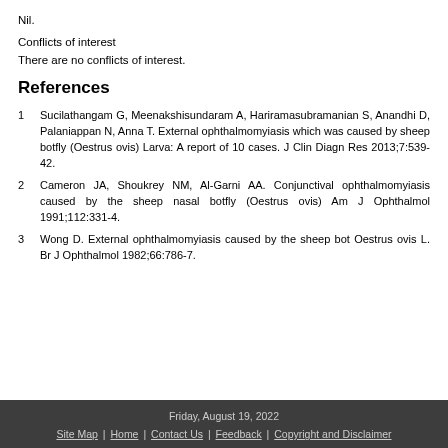Nil.
Conflicts of interest
There are no conflicts of interest.
References
1 Sucilathangam G, Meenakshisundaram A, Hariramasubramanian S, Anandhi D, Palaniappan N, Anna T. External ophthalmomyiasis which was caused by sheep botfly (Oestrus ovis) Larva: A report of 10 cases. J Clin Diagn Res 2013;7:539-42.
2 Cameron JA, Shoukrey NM, Al-Garni AA. Conjunctival ophthalmomyiasis caused by the sheep nasal botfly (Oestrus ovis) Am J Ophthalmol 1991;112:331-4.
3 Wong D. External ophthalmomyiasis caused by the sheep bot Oestrus ovis L. Br J Ophthalmol 1982;66:786-7.
Friday, August 19, 2022 | Site Map | Home | Contact Us | Feedback | Copyright and Disclaimer